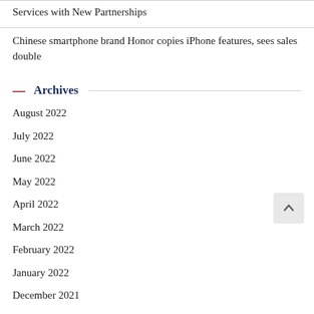Services with New Partnerships
Chinese smartphone brand Honor copies iPhone features, sees sales double
Archives
August 2022
July 2022
June 2022
May 2022
April 2022
March 2022
February 2022
January 2022
December 2021
November 2021
October 2021